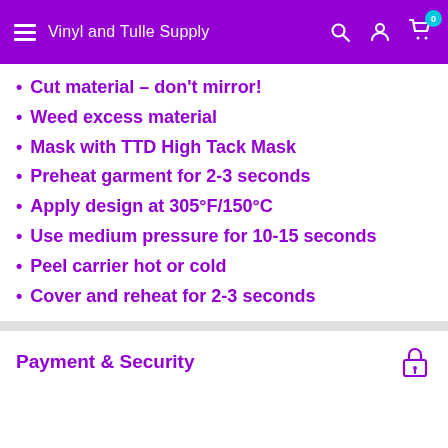Vinyl and Tulle Supply
Cut material – don't mirror!
Weed excess material
Mask with TTD High Tack Mask
Preheat garment for 2-3 seconds
Apply design at 305°F/150°C
Use medium pressure for 10-15 seconds
Peel carrier hot or cold
Cover and reheat for 2-3 seconds
Payment & Security